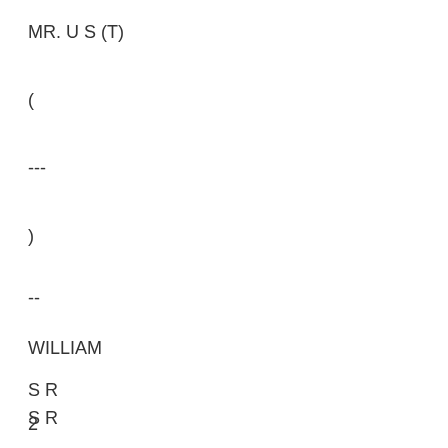MR. U S (T)
(
---
)
--
WILLIAM
S R
2
121
BEIRGE R